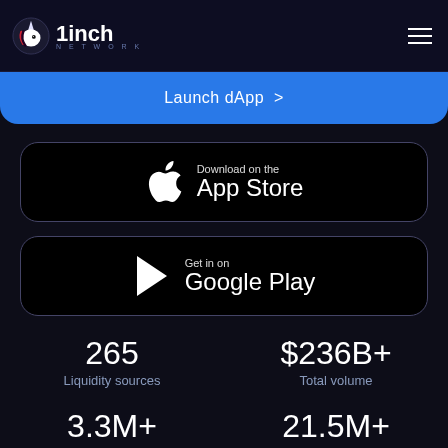1inch Network — Launch dApp
[Figure (screenshot): App Store download button with Apple logo]
[Figure (screenshot): Google Play download button with Play Store triangle icon]
265
Liquidity sources
$236B+
Total volume
3.3M+
21.5M+